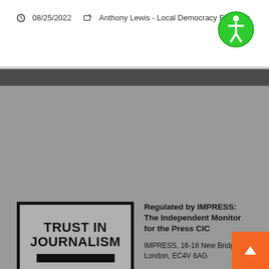08/25/2022  Anthony Lewis - Local Democracy Reporter
[Figure (logo): IMPRESS Trust in Journalism logo — black border box containing 'TRUST IN JOURNALISM' text, a black bar, 'IMPRESS' text, and another black bar]
Regulated by IMPRESS: The Independent Monitor for the Press CIC
IMPRESS, 16-18 New Bridge Street, London, EC4V 6AG
T 020 3325 4288
E complaints@impressreg.org.uk
W impress.press